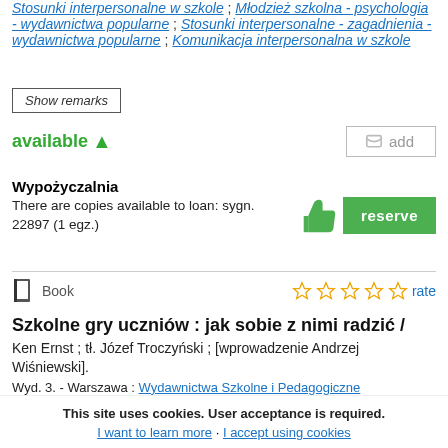Stosunki interpersonalne w szkole ; Młodzież szkolna - psychologia - wydawnictwa popularne ; Stosunki interpersonalne - zagadnienia - wydawnictwa popularne ; Komunikacja interpersonalna w szkole
Show remarks
available
add
Wypożyczalnia
There are copies available to loan: sygn. 22897 (1 egz.)
reserve
Book
rate
Szkolne gry uczniów : jak sobie z nimi radzić /
Ken Ernst ; tł. Józef Troczyński ; [wprowadzenie Andrzej Wiśniewski].
Wyd. 3. - Warszawa : Wydawnictwa Szkolne i Pedagogiczne
This site uses cookies. User acceptance is required.
I want to learn more · I accept using cookies